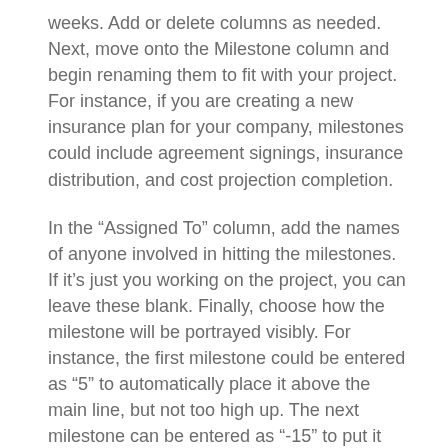weeks. Add or delete columns as needed. Next, move onto the Milestone column and begin renaming them to fit with your project. For instance, if you are creating a new insurance plan for your company, milestones could include agreement signings, insurance distribution, and cost projection completion.
In the “Assigned To” column, add the names of anyone involved in hitting the milestones. If it’s just you working on the project, you can leave these blank. Finally, choose how the milestone will be portrayed visibly. For instance, the first milestone could be entered as “5” to automatically place it above the main line, but not too high up. The next milestone can be entered as “-15” to put it below the main line at a longer length. Positive numbers move milestones to the top, and negative numbers move them below. The larger the number entered, the longer the line will be vertically.